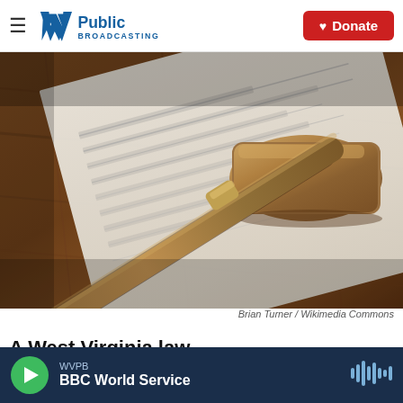WV Public Broadcasting | Donate
[Figure (photo): A wooden judge's gavel resting on papers on a wooden desk, photographed close-up at an angle showing the gavel handle and head prominently.]
Brian Turner / Wikimedia Commons
A West Virginia law...
WVPB — BBC World Service (audio player bar)